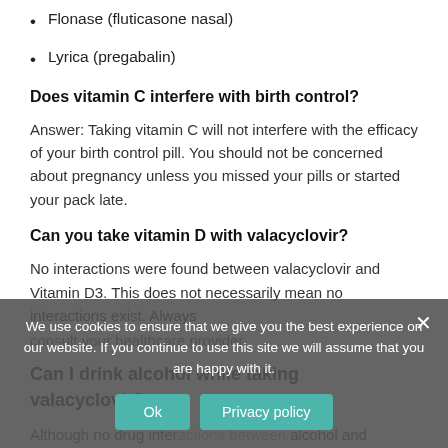Flonase (fluticasone nasal)
Lyrica (pregabalin)
Does vitamin C interfere with birth control?
Answer: Taking vitamin C will not interfere with the efficacy of your birth control pill. You should not be concerned about pregnancy unless you missed your pills or started your pack late.
Can you take vitamin D with valacyclovir?
No interactions were found between valacyclovir and Vitamin D3. This does not necessarily mean no interactions exist. Always consult your healthcare provider.
Can I drink alcohol while taking valacyclovir?
Although no drug interactions between alcohol and Valtrex, it is still best to avoid alcohol while taking the medication.
We use cookies to ensure that we give you the best experience on our website. If you continue to use this site we will assume that you are happy with it.